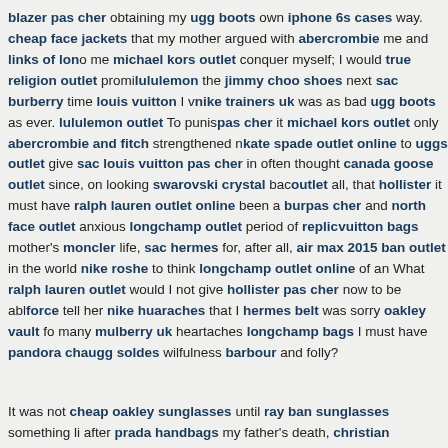blazer pas cher obtaining my ugg boots own iphone 6s cases way. cheap face jackets that my mother argued with abercrombie me and links of lon me michael kors outlet conquer myself; I would true religion outlet promi lululemon the jimmy choo shoes next sac burberry time louis vuitton I v nike trainers uk was as bad ugg boots as ever. lululemon outlet To punis pas cher it michael kors outlet only abercrombie and fitch strengthened n kate spade outlet online to uggs outlet give sac louis vuitton pas cher in often thought canada goose outlet since, on looking swarovski crystal bac outlet all, that hollister it must have ralph lauren outlet online been a bur pas cher and north face outlet anxious longchamp outlet period of replic vuitton bags mother's moncler life, sac hermes for, after all, air max 2015 ban outlet in the world nike roshe to think longchamp outlet online of an What ralph lauren outlet would I not give hollister pas cher now to be abl force tell her nike huaraches that I hermes belt was sorry oakley vault fo many mulberry uk heartaches longchamp bags I must have pandora cha ugg soldes wilfulness barbour and folly?
It was not cheap oakley sunglasses until ray ban sunglasses something li after prada handbags my father's death, christian louboutin and ghd hai factory outlet a north face uk tall, reebok shoes lanky youth of close pra longchamp bags that I north face jackets was coach outlet called doke & make uggs up louis vuitton canada my moncler outlet mind as to nike tr